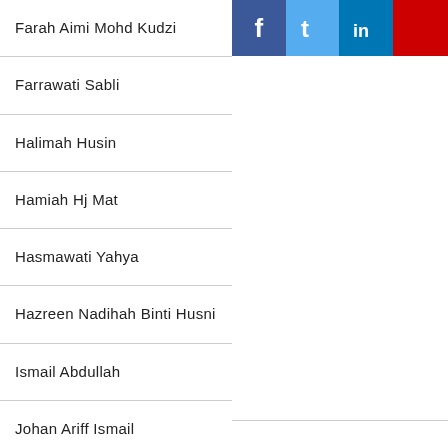Farah Aimi Mohd Kudzi
Farrawati Sabli
Halimah Husin
Hamiah Hj Mat
Hasmawati Yahya
Hazreen Nadihah Binti Husni
Ismail Abdullah
Johan Ariff Ismail
Ku Hariz Farhan Bin Ku Azman
[Figure (illustration): Social media icons for Facebook, Twitter, LinkedIn, and YouTube]